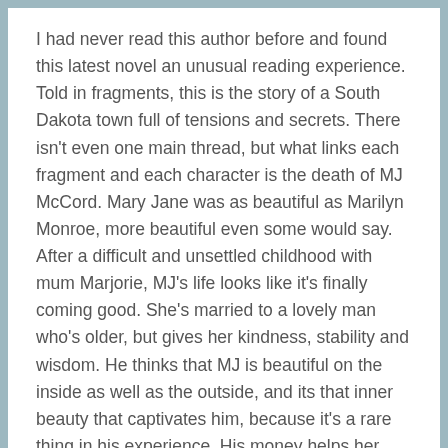I had never read this author before and found this latest novel an unusual reading experience. Told in fragments, this is the story of a South Dakota town full of tensions and secrets. There isn't even one main thread, but what links each fragment and each character is the death of MJ McCord. Mary Jane was as beautiful as Marilyn Monroe, more beautiful even some would say. After a difficult and unsettled childhood with mum Marjorie, MJ's life looks like it's finally coming good. She's married to a lovely man who's older, but gives her kindness, stability and wisdom. He thinks that MJ is beautiful on the inside as well as the outside, and its that inner beauty that captivates him, because it's a rare thing in his experience. His money helps her with a dream of becoming a singer and she's just on the cusp of being known. He knows she's looked elsewhere of late, but it's her age and he can overlook it. Then he gets some